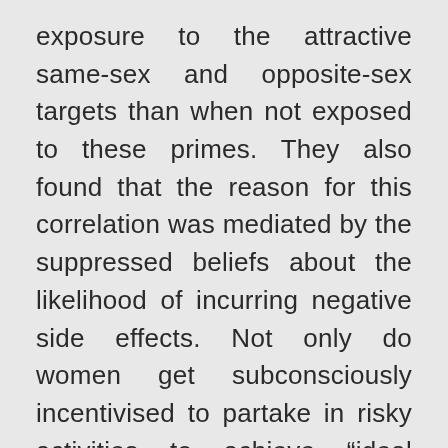exposure to the attractive same-sex and opposite-sex targets than when not exposed to these primes. They also found that the reason for this correlation was mediated by the suppressed beliefs about the likelihood of incurring negative side effects. Not only do women get subconsciously incentivised to partake in risky activities to achieve “ideal bodies” but also deceive themselves of the amount of risk they put themselves in. Unsurprisingly, the constantly shifting trends and standards that our bodies are held to, seem to align with plastic surgery trends. The road to body neutrality is being able to align our actual self to our